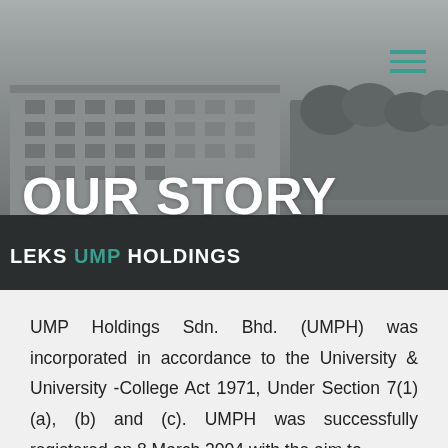[Figure (photo): Aerial/elevated view of a university campus building complex in mist/fog, grey toned photo with UMP Holdings signage visible at the bottom]
OUR STORY
UMP Holdings Sdn. Bhd. (UMPH) was incorporated in accordance to the University & University -College Act 1971, Under Section 7(1) (a), (b) and (c). UMPH was successfully registered on 8 March 2004 with the aim to